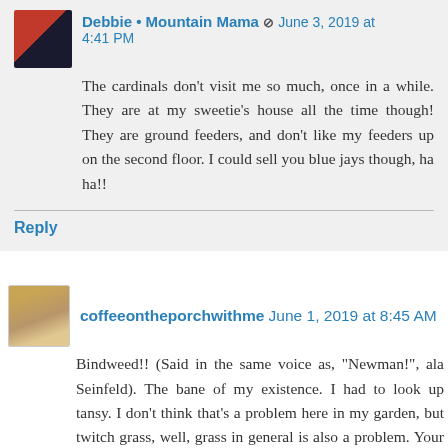Debbie • Mountain Mama — June 3, 2019 at 4:41 PM
The cardinals don't visit me so much, once in a while. They are at my sweetie's house all the time though! They are ground feeders, and don't like my feeders up on the second floor. I could sell you blue jays though, ha ha!!
Reply
coffeeontheporchwithme June 1, 2019 at 8:45 AM
Bindweed!! (Said in the same voice as, "Newman!", ala Seinfeld). The bane of my existence. I had to look up tansy. I don't think that's a problem here in my garden, but twitch grass, well, grass in general is also a problem. Your little cages over your plants made me laugh, but only because I had to cage in my flowers in a flower box a few years back because the squirrels kept ripping them out, thinking they had to get their walnuts out of my flowers boxes where they had hidden them months ago. They didn't know I had